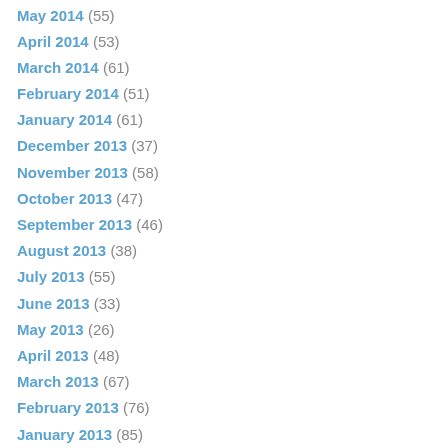May 2014 (55)
April 2014 (53)
March 2014 (61)
February 2014 (51)
January 2014 (61)
December 2013 (37)
November 2013 (58)
October 2013 (47)
September 2013 (46)
August 2013 (38)
July 2013 (55)
June 2013 (33)
May 2013 (26)
April 2013 (48)
March 2013 (67)
February 2013 (76)
January 2013 (85)
December 2012 (96)
November 2012 (132)
October 2012 (142)